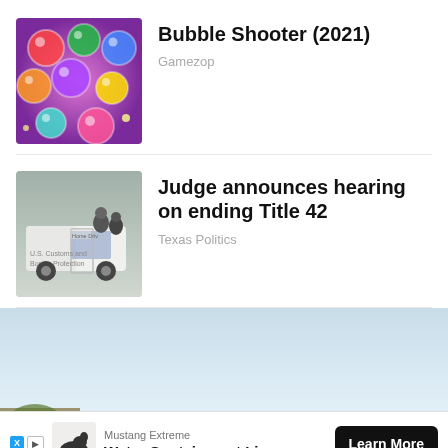[Figure (screenshot): Bubble Shooter game thumbnail with colorful bubbles on pink/purple background]
Bubble Shooter (2021)
Gamezop
[Figure (photo): U.S. Customs and Border Protection vehicle with people]
Judge announces hearing on ending Title 42
Texas Politics
[Figure (photo): Outdoor landscape scene with tree and blue sky]
Mustang Extreme
Water Containment Liners
Learn More